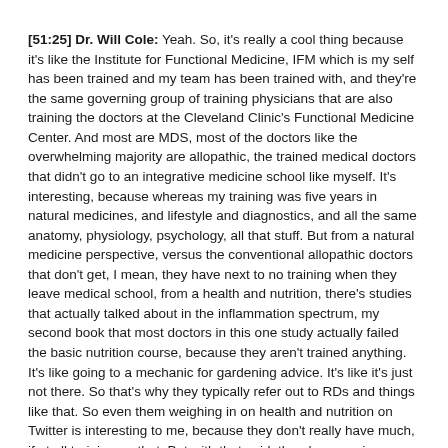[51:25] Dr. Will Cole: Yeah. So, it's really a cool thing because it's like the Institute for Functional Medicine, IFM which is my self has been trained and my team has been trained with, and they're the same governing group of training physicians that are also training the doctors at the Cleveland Clinic's Functional Medicine Center. And most are MDS, most of the doctors like the overwhelming majority are allopathic, the trained medical doctors that didn't go to an integrative medicine school like myself. It's interesting, because whereas my training was five years in natural medicines, and lifestyle and diagnostics, and all the same anatomy, physiology, psychology, all that stuff. But from a natural medicine perspective, versus the conventional allopathic doctors that don't get, I mean, they have next to no training when they leave medical school, from a health and nutrition, there's studies that actually talked about in the inflammation spectrum, my second book that most doctors in this one study actually failed the basic nutrition course, because they aren't trained anything. It's like going to a mechanic for gardening advice. It's like it's just not there. So that's why they typically refer out to RDs and things like that. So even them weighing in on health and nutrition on Twitter is interesting to me, because they don't really have much, if at all training on that. But with that said, there's a growing amount of amazing brilliant, kind hearted, Hippocratic hearted medical doctors, allopathically and conventionally trained doctors that are realizing and they're looking at the same things that we're seeing, and like, we have to do something different to see something different.